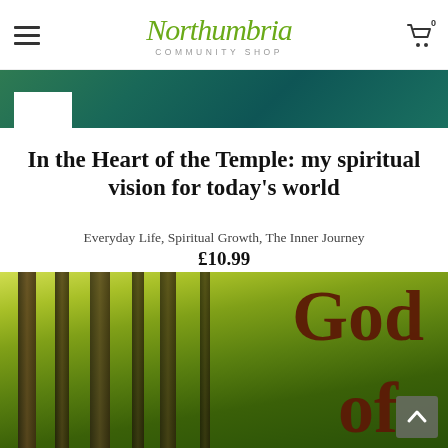[Figure (logo): Northumbria Community Shop logo — green handwritten-style 'Northumbria' text above grey 'COMMUNITY SHOP' in small caps]
In the Heart of the Temple: my spiritual vision for today's world
Everyday Life, Spiritual Growth, The Inner Journey
£10.99
[Figure (photo): Book cover showing green forest/bamboo trees with large dark red text reading 'God' and 'of']